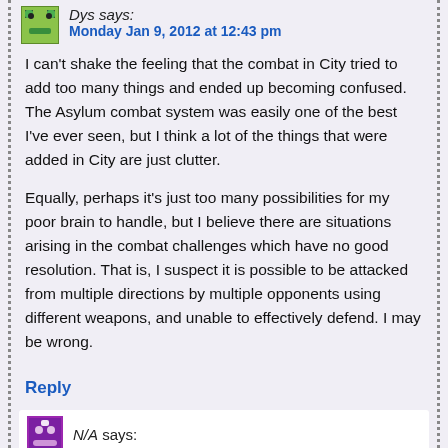Dys says: Monday Jan 9, 2012 at 12:43 pm
I can't shake the feeling that the combat in City tried to add too many things and ended up becoming confused. The Asylum combat system was easily one of the best I've ever seen, but I think a lot of the things that were added in City are just clutter.
Equally, perhaps it's just too many possibilities for my poor brain to handle, but I believe there are situations arising in the combat challenges which have no good resolution. That is, I suspect it is possible to be attacked from multiple directions by multiple opponents using different weapons, and unable to effectively defend. I may be wrong.
Reply
N/A says: